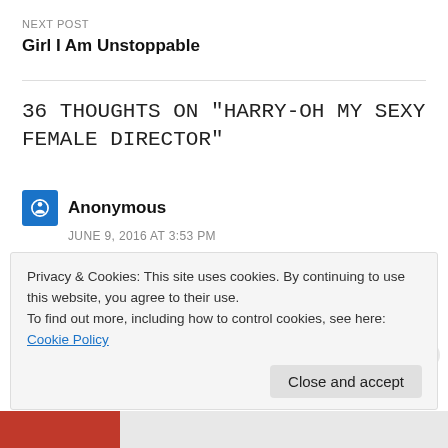NEXT POST
Girl I Am Unstoppable
36 THOUGHTS ON "HARRY-OH MY SEXY FEMALE DIRECTOR"
Anonymous
JUNE 9, 2016 AT 3:53 PM
Interesting..
Privacy & Cookies: This site uses cookies. By continuing to use this website, you agree to their use.
To find out more, including how to control cookies, see here:
Cookie Policy
Close and accept